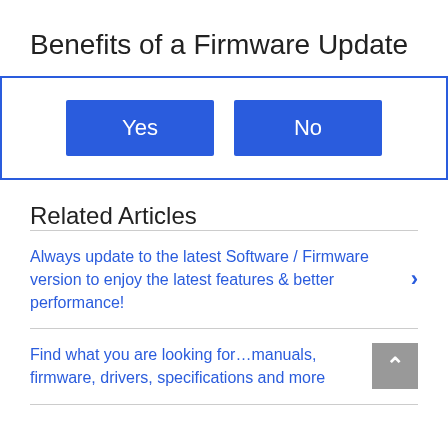Benefits of a Firmware Update
Yes | No (dialog buttons)
Related Articles
Always update to the latest Software / Firmware version to enjoy the latest features & better performance!
Find what you are looking for…manuals, firmware, drivers, specifications and more